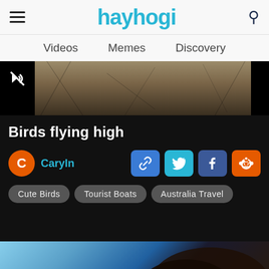hayhogi
Videos   Memes   Discovery
[Figure (screenshot): Video thumbnail showing birds or similar dark textured scene, with mute button overlay in top-left corner]
Birds flying high
C  Caryln
Share buttons: link, Twitter, Facebook, Reddit
Cute Birds
Tourist Boats
Australia Travel
[Figure (photo): Partial thumbnail of another video showing blue sky and dark subject, bottom of page]